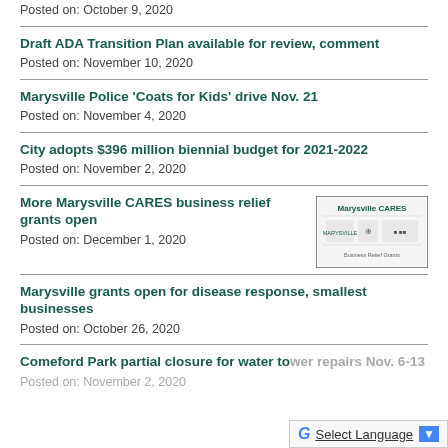Posted on: October 9, 2020
Draft ADA Transition Plan available for review, comment
Posted on: November 10, 2020
Marysville Police ‘Coats for Kids’ drive Nov. 21
Posted on: November 4, 2020
City adopts $396 million biennial budget for 2021-2022
Posted on: November 2, 2020
More Marysville CARES business relief grants open
[Figure (logo): Marysville CARES Business Relief Grants logo with city and partner logos]
Posted on: December 1, 2020
Marysville grants open for disease response, smallest businesses
Posted on: October 26, 2020
Comeford Park partial closure for water tower repairs Nov. 6-13
Posted on: November 2, 2020